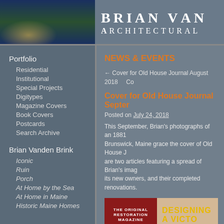[Figure (photo): Architectural photograph of a house at dusk with water in background]
BRIAN VAN
ARCHITECTURAL
Portfolio
Residential
Institutional
Special Projects
Digitypes
Magazine Covers
Book Covers
Postcards
Search Archive
Brian Vanden Brink
Iconic
Ruin
Porch
At Home by the Sea
At Home in Maine
Historic Maine Homes
NEWS & EVENTS
← Cover for Old House Journal August 2018
Co
Cover for Old House Journal Septer
Posted on July 24, 2018
This September, Brian's photographs of an 1881 Brunswick, Maine grace the cover of Old House J are two articles featuring a spread of Brian's imag its new owners, and their completed renovations.
[Figure (photo): Magazine cover of Old House Journal with text 'The Original Restoration Magazine' and 'DESIGNING A VICTO']